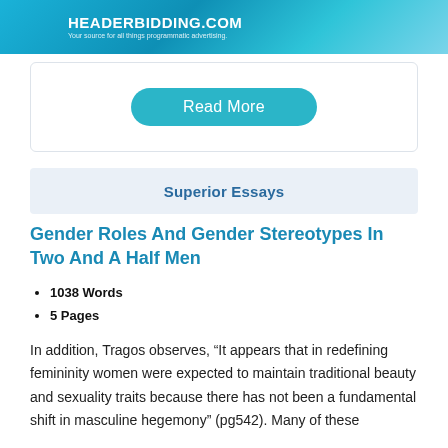[Figure (other): HeaderBidding.com advertisement banner with teal gradient background, white bold text reading HEADERBIDDING.COM and subtitle Your source for all things programmatic advertising.]
Read More
Superior Essays
Gender Roles And Gender Stereotypes In Two And A Half Men
1038 Words
5 Pages
In addition, Tragos observes, “It appears that in redefining femininity women were expected to maintain traditional beauty and sexuality traits because there has not been a fundamental shift in masculine hegemony” (pg542). Many of these